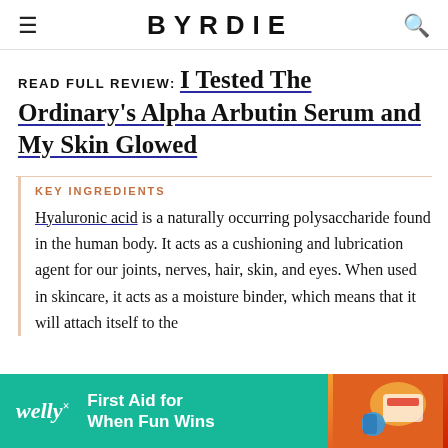BYRDIE
READ FULL REVIEW: I Tested The Ordinary's Alpha Arbutin Serum and My Skin Glowed
KEY INGREDIENTS
Hyaluronic acid is a naturally occurring polysaccharide found in the human body. It acts as a cushioning and lubrication agent for our joints, nerves, hair, skin, and eyes. When used in skincare, it acts as a moisture binder, which means that it will attach itself to the
[Figure (infographic): Welly advertisement banner: teal background with Welly logo, text 'First Aid for When Fun Wins', and product imagery]